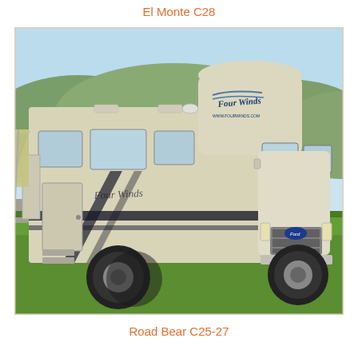El Monte C28
[Figure (photo): A Class C motorhome (Four Winds brand) with extended awning, parked on grass with hills in background. Ford chassis, white/cream exterior with dark decorative stripes.]
Road Bear C25-27